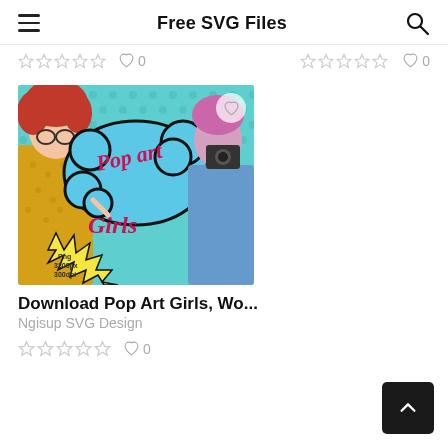Free SVG Files
☆☆☆☆☆  ♡ 0    ☆☆☆☆☆  ♡ 0
[Figure (illustration): Pop Art Girls digital illustration with two women in comic book style, blue speech bubble saying 'Pop art Girls', teal polka dot background, yellow starburst with text 'Png 3300px 300dpi']
Download Pop Art Girls, Wo...
Ngisup SVG Design
☆☆☆☆☆  ♡ 0